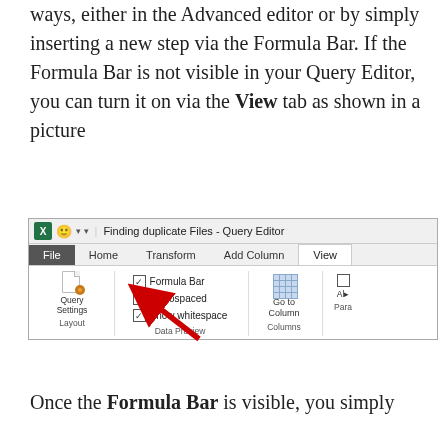ways, either in the Advanced editor or by simply inserting a new step via the Formula Bar. If the Formula Bar is not visible in your Query Editor, you can turn it on via the View tab as shown in a picture
[Figure (screenshot): Screenshot of the Query Editor ribbon showing the View tab with Formula Bar checkbox checked, and a red arrow pointing to the Formula Bar option. Sections visible: File (dark), Home, Transform, Add Column, View tabs; Layout group with Query Settings; Data Preview group with Formula Bar (checked), Monospaced (unchecked), Show whitespace (checked); Columns group with Go to Column and grid icon.]
Once the Formula Bar is visible, you simply